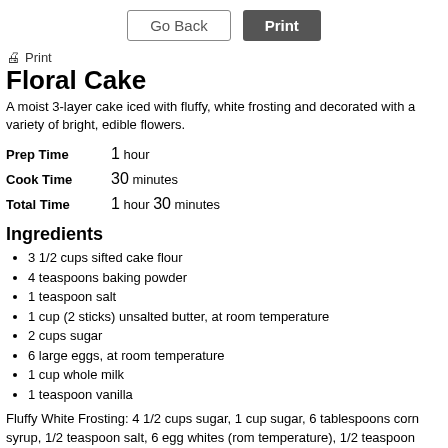Go Back | Print
🖨 Print
Floral Cake
A moist 3-layer cake iced with fluffy, white frosting and decorated with a variety of bright, edible flowers.
Prep Time: 1 hour
Cook Time: 30 minutes
Total Time: 1 hour 30 minutes
Ingredients
3 1/2 cups sifted cake flour
4 teaspoons baking powder
1 teaspoon salt
1 cup (2 sticks) unsalted butter, at room temperature
2 cups sugar
6 large eggs, at room temperature
1 cup whole milk
1 teaspoon vanilla
Fluffy White Frosting: 4 1/2 cups sugar, 1 cup sugar, 6 tablespoons corn syrup, 1/2 teaspoon salt, 6 egg whites (rom temperature), 1/2 teaspoon tartar, 1/3 cup confectioners' sugar, and 1 teaspoon vanilla